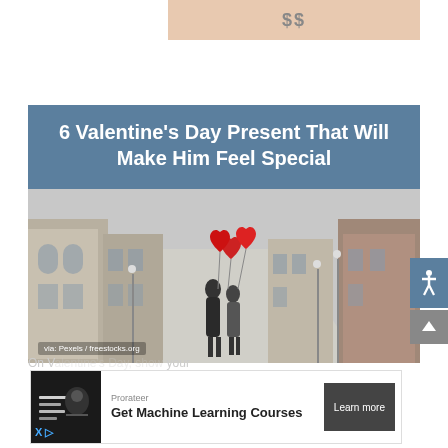[Figure (other): Advertisement banner showing '$$' text on a peach/tan background]
6 Valentine's Day Present That Will Make Him Feel Special
[Figure (photo): Couple kissing on a European street holding red heart-shaped balloons. Photo credit: via: Pexels / freestocks.org]
via: Pexels / freestocks.org
[Figure (other): Advertisement for Prorateer: Get Machine Learning Courses with 'Learn more' button]
On V... your